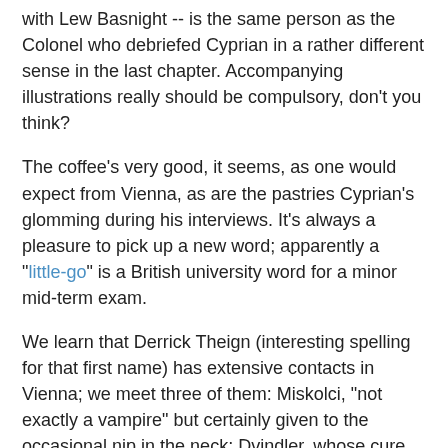with Lew Basnight -- is the same person as the Colonel who debriefed Cyprian in a rather different sense in the last chapter. Accompanying illustrations really should be compulsory, don't you think?
The coffee's very good, it seems, as one would expect from Vienna, as are the pastries Cyprian's glomming during his interviews. It's always a pleasure to pick up a new word; apparently a "little-go" is a British university word for a minor mid-term exam.
We learn that Derrick Theign (interesting spelling for that first name) has extensive contacts in Vienna; we meet three of them: Miskolci, "not exactly a vampire" but certainly given to the occasional nip in the neck; Dvindler, whose cure for constipation had me squirming a bit in my seat; and Yzhitza, a specialist in erotic "Honigfalle [what we'd call 'honey-trap'] work" who's good enough at her work that even the "ambivalent" Theign gets a rod-on.
Cyprian, who's put on a pound or two from all the pastry, is given to evening jaunts to "his old sanctuary of desire," the